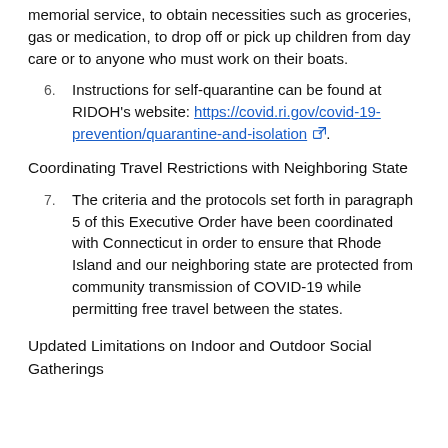memorial service, to obtain necessities such as groceries, gas or medication, to drop off or pick up children from day care or to anyone who must work on their boats.
6. Instructions for self-quarantine can be found at RIDOH's website: https://covid.ri.gov/covid-19-prevention/quarantine-and-isolation.
Coordinating Travel Restrictions with Neighboring State
7. The criteria and the protocols set forth in paragraph 5 of this Executive Order have been coordinated with Connecticut in order to ensure that Rhode Island and our neighboring state are protected from community transmission of COVID-19 while permitting free travel between the states.
Updated Limitations on Indoor and Outdoor Social Gatherings